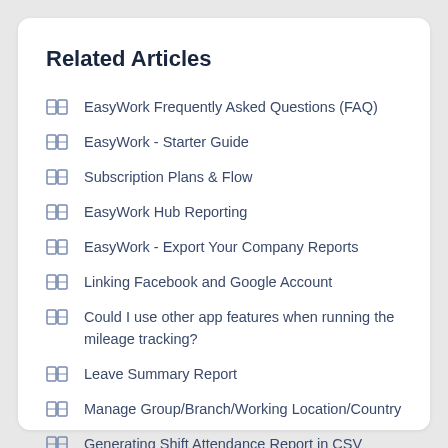Related Articles
EasyWork Frequently Asked Questions (FAQ)
EasyWork - Starter Guide
Subscription Plans & Flow
EasyWork Hub Reporting
EasyWork - Export Your Company Reports
Linking Facebook and Google Account
Could I use other app features when running the mileage tracking?
Leave Summary Report
Manage Group/Branch/Working Location/Country
Generating Shift Attendance Report in CSV format